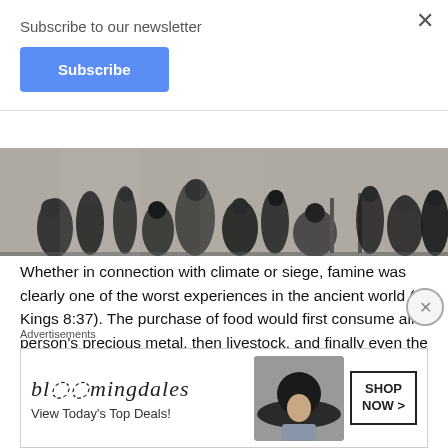Subscribe to our newsletter
Subscribe
[Figure (photo): Black and white historical engraving/illustration showing a crowd of people, appearing to be from the 19th century, likely depicting famine or hardship scenes.]
Whether in connection with climate or siege, famine was clearly one of the worst experiences in the ancient world (1 Kings 8:37). The purchase of food would first consume all a person’s precious metal, then livestock, and finally even the land they relied on the produce food, putting its former owners into virtual servitude (Gen 47:13-22). Jeremiah vividly describes the circumstances in which hunger pangs could no longer be endured in silence but were given
Advertisements
[Figure (illustration): Bloomingdale's advertisement showing their logo, woman with wide-brimmed hat, and Shop Now button. Text: bloomingdales, View Today's Top Deals!, SHOP NOW >]